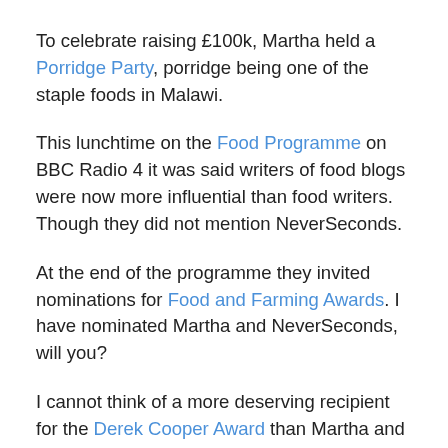To celebrate raising £100k, Martha held a Porridge Party, porridge being one of the staple foods in Malawi.
This lunchtime on the Food Programme on BBC Radio 4 it was said writers of food blogs were now more influential than food writers. Though they did not mention NeverSeconds.
At the end of the programme they invited nominations for Food and Farming Awards. I have nominated Martha and NeverSeconds, will you?
I cannot think of a more deserving recipient for the Derek Cooper Award than Martha and NeverSeconds as a writer who has raised awareness of food, especially with children, and raised more than £100,000 for a food kitchen in Malawi for schoolchildren, to be called Friends of